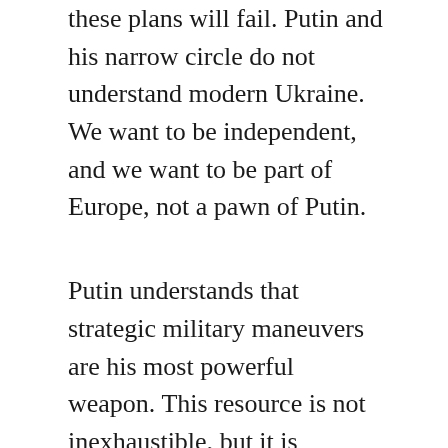these plans will fail. Putin and his narrow circle do not understand modern Ukraine. We want to be independent, and we want to be part of Europe, not a pawn of Putin.
Putin understands that strategic military maneuvers are his most powerful weapon. This resource is not inexhaustible, but it is efficient. Yet any direct military operation will limit the Kremlin’s options and its ability to put further pressure on the West, so we should expect multifaceted responses from Putin. The Russian president will likely use a combination of cuts to power and heat plus more cyberattacks to